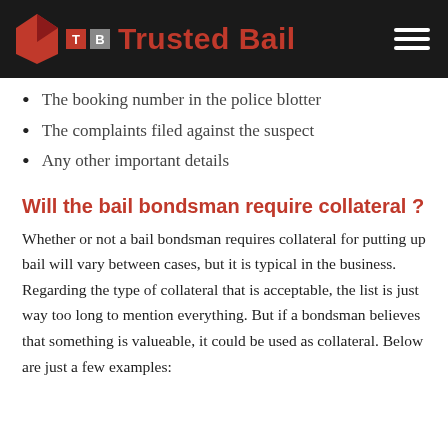Trusted Bail
The booking number in the police blotter
The complaints filed against the suspect
Any other important details
Will the bail bondsman require collateral ?
Whether or not a bail bondsman requires collateral for putting up bail will vary between cases, but it is typical in the business. Regarding the type of collateral that is acceptable, the list is just way too long to mention everything. But if a bondsman believes that something is valueable, it could be used as collateral. Below are just a few examples: